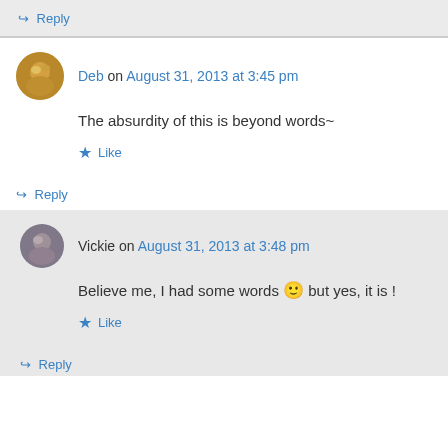↪ Reply
Deb on August 31, 2013 at 3:45 pm
The absurdity of this is beyond words~
★ Like
↪ Reply
Vickie on August 31, 2013 at 3:48 pm
Believe me, I had some words 🙂 but yes, it is !
★ Like
↪ Reply